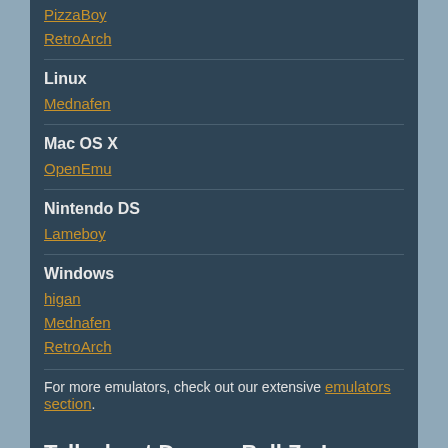PizzaBoy
RetroArch
Linux
Mednafen
Mac OS X
OpenEmu
Nintendo DS
Lameboy
Windows
higan
Mednafen
RetroArch
For more emulators, check out our extensive emulators section.
Talk about Dragon Ball Z - I Leggendari